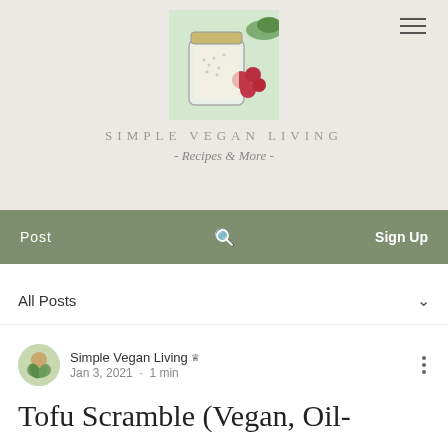[Figure (photo): Food blog logo image showing a mason jar, chia seeds, and red raspberries on a light background]
SIMPLE VEGAN LIVING
- Recipes & More -
Post   🔍   Sign Up
All Posts
Simple Vegan Living 👑
Jan 3, 2021 · 1 min
Tofu Scramble (Vegan, Oil-free & Gluten-free)